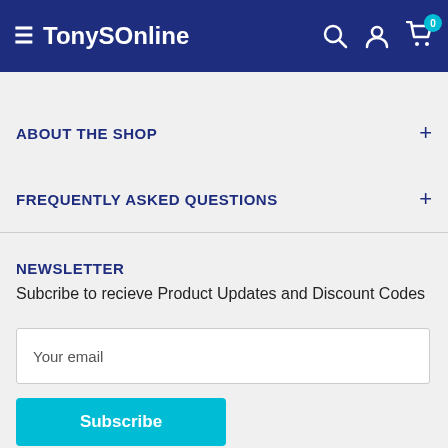TonysSOnline
ABOUT THE SHOP
FREQUENTLY ASKED QUESTIONS
NEWSLETTER
Subcribe to recieve Product Updates and Discount Codes
Your email
Subscribe